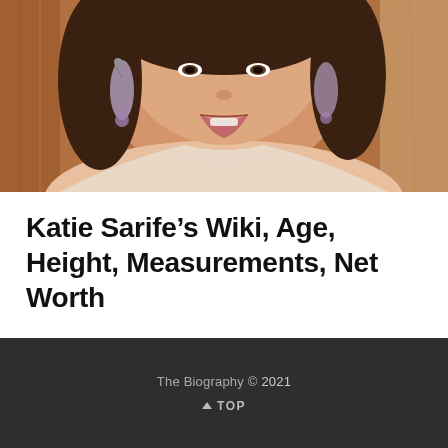[Figure (photo): Photo of Katie Sarife, a woman wearing dangling star earrings and a light-colored outfit, photographed against a warm brown wooden background, cropped to show head and shoulders.]
Katie Sarife’s Wiki, Age, Height, Measurements, Net Worth
The Biography © 2021
∧ TOP